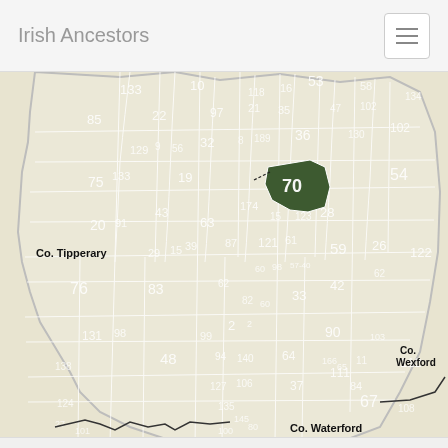Irish Ancestors
[Figure (map): Map of County Kilkenny, Ireland showing numbered civil parishes/townlands. One region (number 70) is highlighted in dark green. Surrounding county labels: Co. Tipperary (left), Co. Wexford (right), Co. Waterford (bottom).]